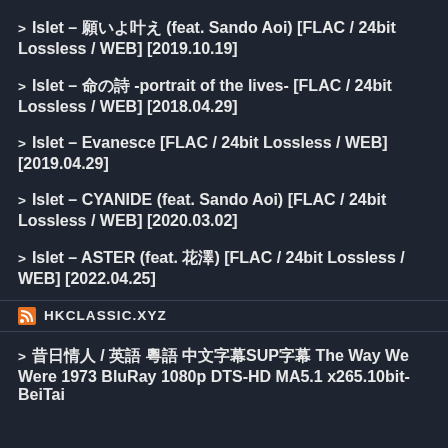Islet – 願いよ叶え (feat. Sando Aoi) [FLAC / 24bit Lossless / WEB] [2019.10.19]
Islet – 命の詩 -portrait of the lives- [FLAC / 24bit Lossless / WEB] [2018.04.29]
Islet – Evanesce [FLAC / 24bit Lossless / WEB] [2019.04.29]
Islet – CYANIDE (feat. Sando Aoi) [FLAC / 24bit Lossless / WEB] [2020.03.02]
Islet – ASTER (feat. 花澤) [FLAC / 24bit Lossless / WEB] [2022.04.25]
HKCLASSIC.XYZ
昔日情人 / 英語 粵語 中文字幕SUP字幕 The Way We Were 1973 BluRay 1080p DTS-HD MA5.1 x265.10bit-BeiTai